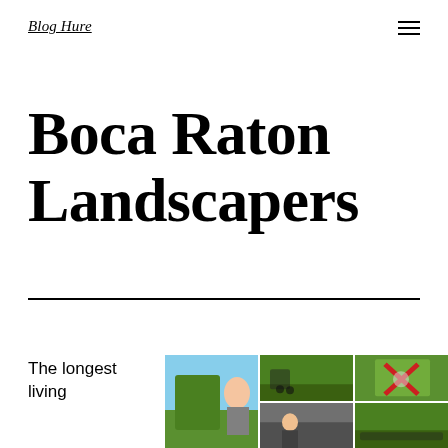Blog Hure
Boca Raton Landscapers
The longest living